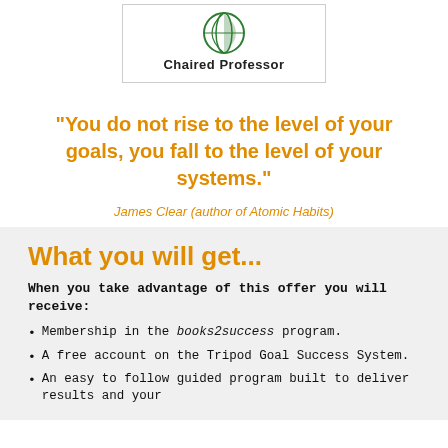[Figure (logo): Green circular logo with leaf/globe design]
Chaired Professor
“You do not rise to the level of your goals, you fall to the level of your systems.”
James Clear (author of Atomic Habits)
What you will get...
When you take advantage of this offer you will receive:
Membership in the books2success program.
A free account on the Tripod Goal Success System.
An easy to follow guided program built to deliver results and your